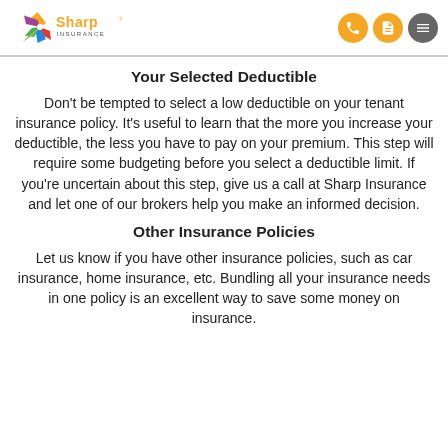Sharp Insurance
Your Selected Deductible
Don't be tempted to select a low deductible on your tenant insurance policy. It's useful to learn that the more you increase your deductible, the less you have to pay on your premium. This step will require some budgeting before you select a deductible limit. If you're uncertain about this step, give us a call at Sharp Insurance and let one of our brokers help you make an informed decision.
Other Insurance Policies
Let us know if you have other insurance policies, such as car insurance, home insurance, etc. Bundling all your insurance needs in one policy is an excellent way to save some money on insurance.